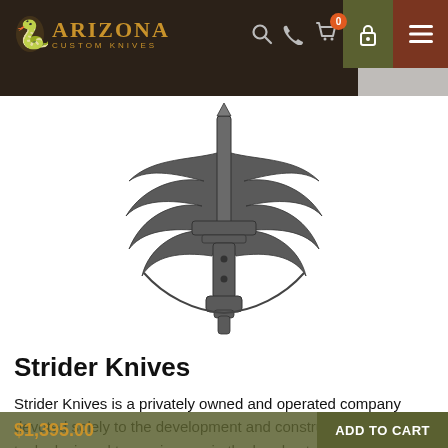Arizona Custom Knives — navigation bar with logo, search, phone, cart (0), lock, and menu icons
[Figure (logo): Strider Knives brand logo: a military-style emblem featuring a sword/dagger pointing downward flanked by outspread wings, rendered in dark grey/gunmetal tones on white background]
Strider Knives
Strider Knives is a privately owned and operated company devoted solely to the development and construction of edged tools designed to survive use in the harshest of conditions. The company was founded
$1,395.00   ADD TO CART